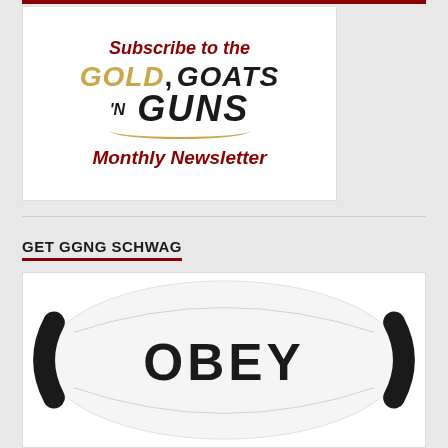[Figure (illustration): Subscribe to the Gold, Goats 'N Guns Monthly Newsletter promotional banner with white background]
GET GGNG SCHWAG
[Figure (photo): White face mask with OBEY text printed in black, with black straps visible at sides, on white background]